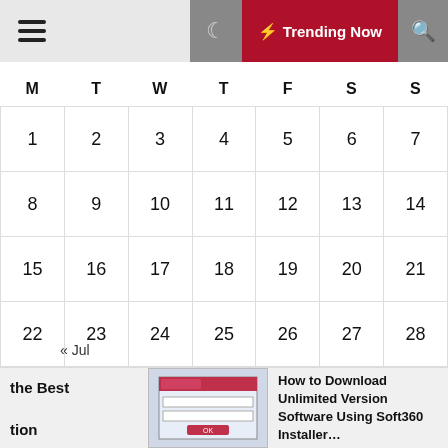≡  ☽  ⚡ Trending Now  🔍
| M | T | W | T | F | S | S |
| --- | --- | --- | --- | --- | --- | --- |
| 1 | 2 | 3 | 4 | 5 | 6 | 7 |
| 8 | 9 | 10 | 11 | 12 | 13 | 14 |
| 15 | 16 | 17 | 18 | 19 | 20 | 21 |
| 22 | 23 | 24 | 25 | 26 | 27 | 28 |
| 29 | 30 | 31 |  |  |  |  |
« Jul
Tags
the Best tion  How to Download Unlimited Version Software Using Soft360 Installer...